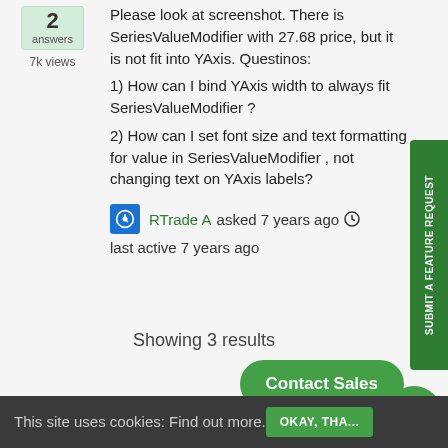2 answers
7k views
Please look at screenshot. There is SeriesValueModifier with 27.68 price, but it is not fit into YAxis. Questinos:
1) How can I bind YAxis width to always fit SeriesValueModifier ?
2) How can I set font size and text formatting for value in SeriesValueModifier , not changing text on YAxis labels?
RTrade A asked 7 years ago  last active 7 years ago
Showing 3 results
SUBMIT A FEATURE REQUEST
Contact Sales
This site uses cookies: Find out more.
OKAY, THA...